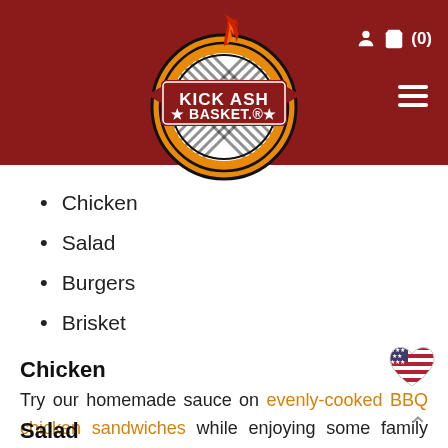[Figure (logo): Kick Ash Basket logo: circular badge with orange ring, black and white woven basket background, red banner reading KICK ASH BASKET with stars and registered trademark, flame on top]
Chicken
Salad
Burgers
Brisket
Chicken
Try our homemade sauce on evenly-cooked BBQ chicken sandwiches while enjoying some family picnic time. You can throw some coleslaw on top of your chicken sandwich and call it a day.
Salad